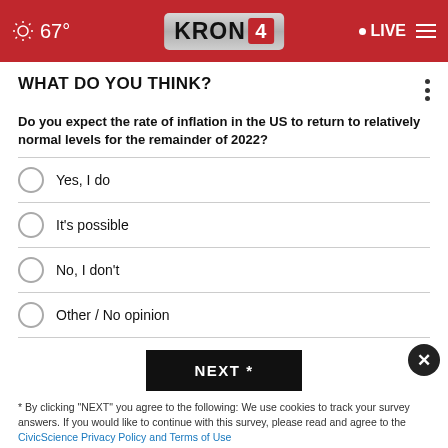67° KRON 4 • LIVE
WHAT DO YOU THINK?
Do you expect the rate of inflation in the US to return to relatively normal levels for the remainder of 2022?
Yes, I do
It's possible
No, I don't
Other / No opinion
NEXT *
* By clicking "NEXT" you agree to the following: We use cookies to track your survey answers. If you would like to continue with this survey, please read and agree to the CivicScience Privacy Policy and Terms of Use.
[Figure (photo): Advertisement: Two people standing together outdoors with text 'If you're noticing changes, it could be Alzheimer's. Visit a doctor together.']